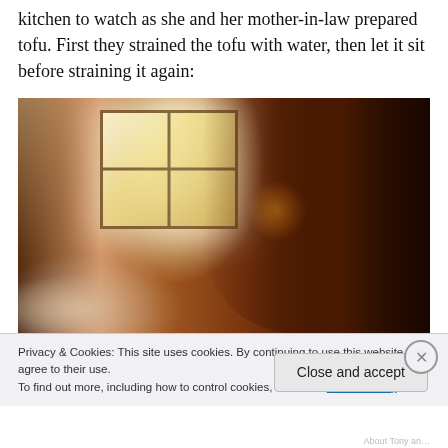kitchen to watch as she and her mother-in-law prepared tofu. First they strained the tofu with water, then let it sit before straining it again:
[Figure (photo): A person working in a smoky kitchen, leaning over large bowls or pots, with a window letting in bright backlight behind them. The scene appears to be traditional tofu preparation.]
Privacy & Cookies: This site uses cookies. By continuing to use this website, you agree to their use.
To find out more, including how to control cookies, see here: Cookie Policy
Close and accept